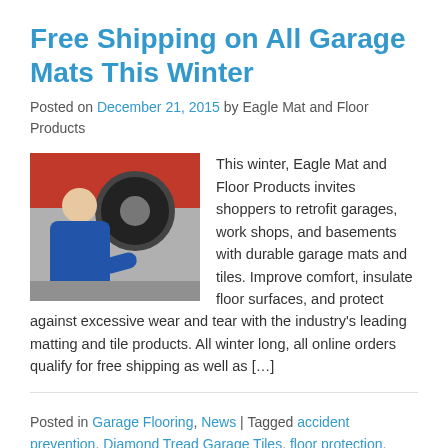Free Shipping on All Garage Mats This Winter
Posted on December 21, 2015 by Eagle Mat and Floor Products
[Figure (photo): A young person in a blue jumpsuit kneeling next to a car tire, appearing to work on a vehicle in a garage setting.]
This winter, Eagle Mat and Floor Products invites shoppers to retrofit garages, work shops, and basements with durable garage mats and tiles. Improve comfort, insulate floor surfaces, and protect against excessive wear and tear with the industry's leading matting and tile products. All winter long, all online orders qualify for free shipping as well as […]
Posted in Garage Flooring, News | Tagged accident prevention, Diamond Tread Garage Tiles, floor protection,